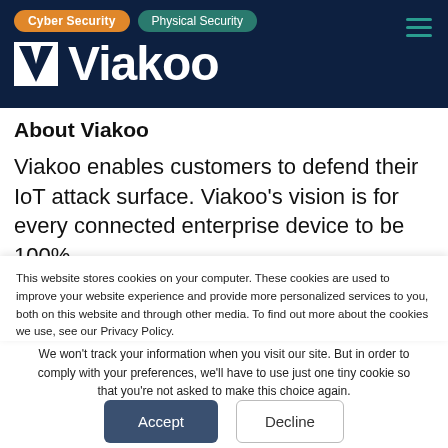Cyber Security | Physical Security | Viakoo logo
About Viakoo
Viakoo enables customers to defend their IoT attack surface. Viakoo's vision is for every connected enterprise device to be 100%
This website stores cookies on your computer. These cookies are used to improve your website experience and provide more personalized services to you, both on this website and through other media. To find out more about the cookies we use, see our Privacy Policy.
We won't track your information when you visit our site. But in order to comply with your preferences, we'll have to use just one tiny cookie so that you're not asked to make this choice again.
Accept | Decline